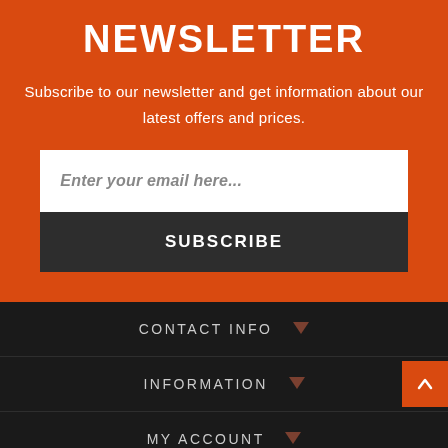NEWSLETTER
Subscribe to our newsletter and get information about our latest offers and prices.
Enter your email here...
SUBSCRIBE
CONTACT INFO
INFORMATION
MY ACCOUNT